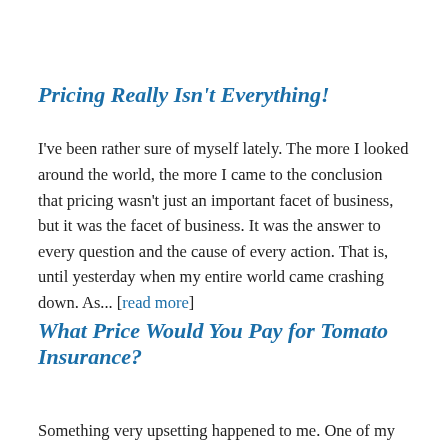Pricing Really Isn't Everything!
I've been rather sure of myself lately. The more I looked around the world, the more I came to the conclusion that pricing wasn't just an important facet of business, but it was the facet of business. It was the answer to every question and the cause of every action. That is, until yesterday when my entire world came crashing down. As... [read more]
What Price Would You Pay for Tomato Insurance?
Something very upsetting happened to me. One of my